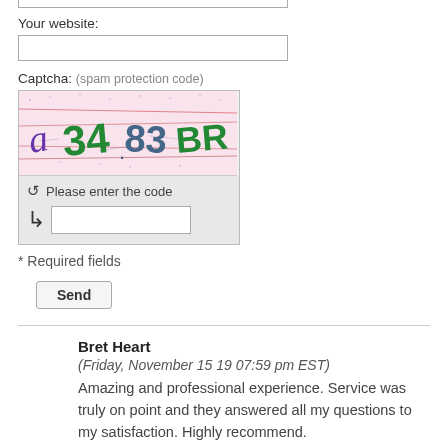Your website:
[Figure (screenshot): Empty text input box for website URL]
Captcha: (spam protection code)
[Figure (screenshot): CAPTCHA image showing distorted text '2 34 83BR' on pink speckled background with colored lines, with a refresh icon and 'Please enter the code' prompt and an input field below]
* Required fields
Send
Bret Heart
(Friday, November 15 19 07:59 pm EST)
Amazing and professional experience. Service was truly on point and they answered all my questions to my satisfaction. Highly recommend.
Donald Saws